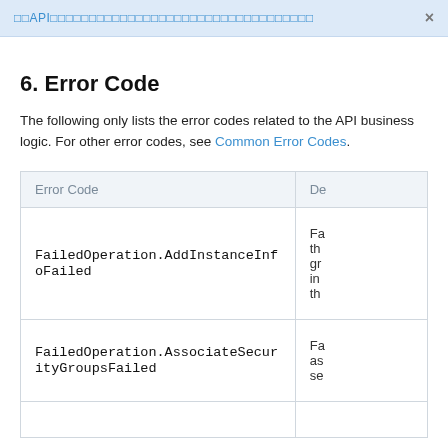□□API□□□□□□□□□□□□□□□□□□□□□□□□□□□□□□□□□□
6. Error Code
The following only lists the error codes related to the API business logic. For other error codes, see Common Error Codes.
| Error Code | De... |
| --- | --- |
| FailedOperation.AddInstanceInfoFailed | Fa... th... gr... in... th... |
| FailedOperation.AssociateSecurityGroupsFailed | Fa... as... se... |